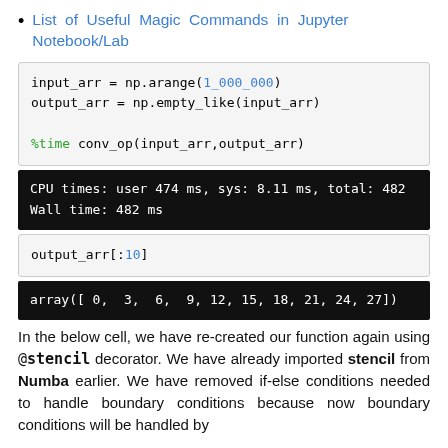List of Useful Magic Commands in Jupyter Notebook/Lab
[Figure (screenshot): Code input cell: input_arr = np.arange(1_000_000), output_arr = np.empty_like(input_arr), %time conv_op(input_arr,output_arr)]
[Figure (screenshot): Code output cell (black background): CPU times: user 474 ms, sys: 8.11 ms, total: 482 / Wall time: 482 ms]
[Figure (screenshot): Code input cell: output_arr[:10]]
[Figure (screenshot): Code output cell (black background): array([ 0,  3,  6,  9, 12, 15, 18, 21, 24, 27])]
In the below cell, we have re-created our function again using @stencil decorator. We have already imported stencil from Numba earlier. We have removed if-else conditions needed to handle boundary conditions because now boundary conditions will be handled by